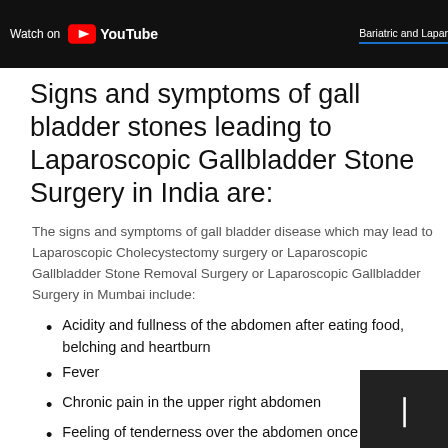Watch on YouTube | Bariatric and Lapar
Signs and symptoms of gall bladder stones leading to Laparoscopic Gallbladder Stone Surgery in India are:
The signs and symptoms of gall bladder disease which may lead to Laparoscopic Cholecystectomy surgery or Laparoscopic Gallbladder Stone Removal Surgery or Laparoscopic Gallbladder Surgery in Mumbai include:
Acidity and fullness of the abdomen after eating food, belching and heartburn
Fever
Chronic pain in the upper right abdomen
Feeling of tenderness over the abdomen once its